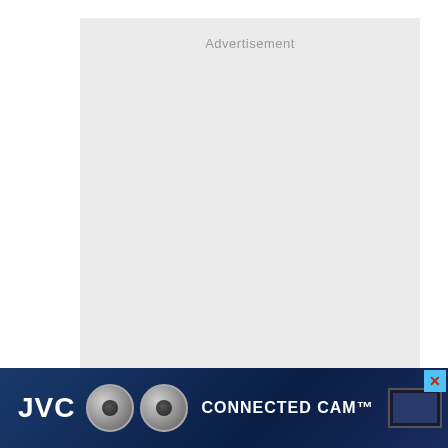[Figure (other): Advertisement placeholder box — large light gray rectangle with the word 'Advertisement' in gray text near the top center]
[Figure (other): JVC Connected Cam advertisement banner at bottom of page. Dark blue background with JVC logo in white, camera product images, and 'CONNECTED CAM' tagline in white text. Has a close button (X) in top-right corner.]